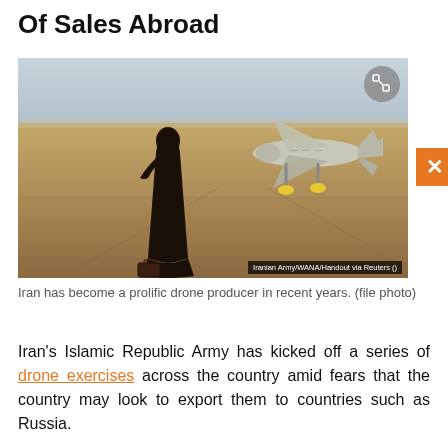Of Sales Abroad
[Figure (photo): A robed figure stands on a desert tarmac facing an Iranian military drone. Photo credited to Iranian Army/WANA/Handout via Reuters.]
Iran has become a prolific drone producer in recent years. (file photo)
Iran's Islamic Republic Army has kicked off a series of drone exercises across the country amid fears that the country may look to export them to countries such as Russia.